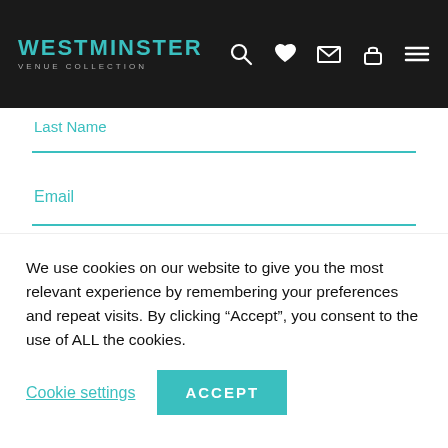[Figure (screenshot): Westminster Venue Collection website header with teal logo text, navigation icons (search, heart, mail, lock, menu) on dark background]
Last Name
Email
Organisation
I agree to the privacy policy.
We use cookies on our website to give you the most relevant experience by remembering your preferences and repeat visits. By clicking “Accept”, you consent to the use of ALL the cookies.
Cookie settings
ACCEPT